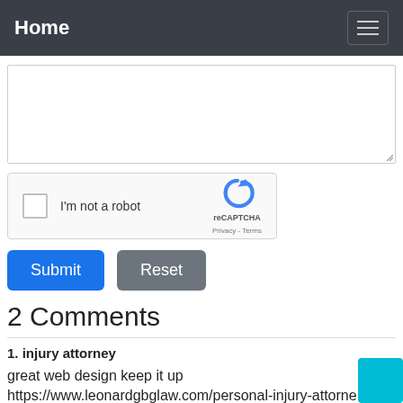Home
[Figure (screenshot): Textarea input field with resize handle]
[Figure (screenshot): reCAPTCHA widget with checkbox labeled I'm not a robot, reCAPTCHA logo, Privacy and Terms links]
Submit  Reset
2 Comments
1. injury attorney

great web design keep it up
https://www.leonardgbglaw.com/personal-injury-attorne